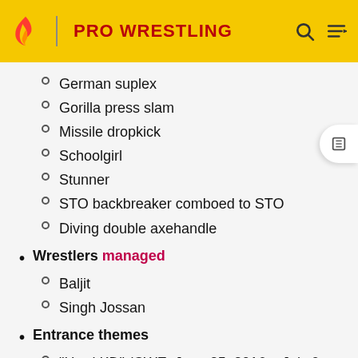PRO WRESTLING
German suplex
Gorilla press slam
Missile dropkick
Schoolgirl
Stunner
STO backbreaker comboed to STO
Diving double axehandle
Wrestlers managed
Baljit
Singh Jossan
Entrance themes
"Hard KD" (CWE; June 25, 2016 – July 9, 2016)
"Hard KD" (second version) (CWE, August 20, 2016 – 2017)